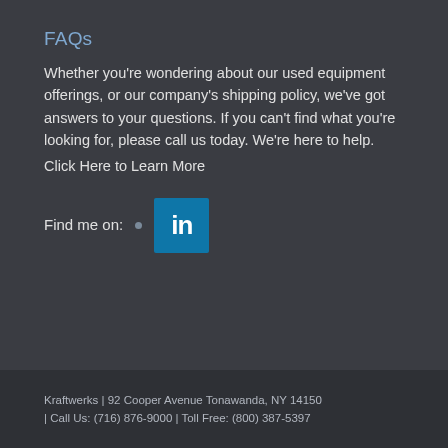FAQs
Whether you're wondering about our used equipment offerings, or our company's shipping policy, we've got answers to your questions. If you can't find what you're looking for, please call us today. We're here to help.
Click Here to Learn More
Find me on:
[Figure (logo): LinkedIn logo icon — white 'in' text on a blue square background]
Kraftwerks | 92 Cooper Avenue Tonawanda, NY 14150 | Call Us: (716) 876-9000 | Toll Free: (800) 387-5397